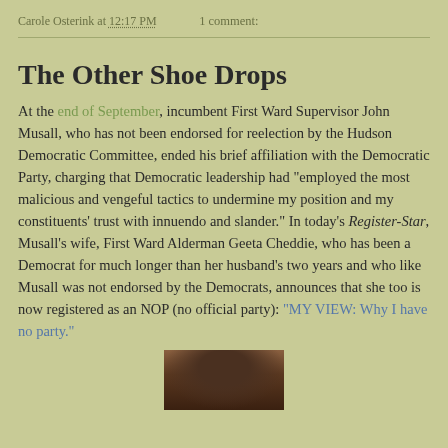Carole Osterink at 12:17 PM   1 comment:
The Other Shoe Drops
At the end of September, incumbent First Ward Supervisor John Musall, who has not been endorsed for reelection by the Hudson Democratic Committee, ended his brief affiliation with the Democratic Party, charging that Democratic leadership had "employed the most malicious and vengeful tactics to undermine my position and my constituents' trust with innuendo and slander." In today's Register-Star, Musall's wife, First Ward Alderman Geeta Cheddie, who has been a Democrat for much longer than her husband's two years and who like Musall was not endorsed by the Democrats, announces that she too is now registered as an NOP (no official party): "MY VIEW: Why I have no party."
[Figure (photo): Partial photo of a person, darkened image showing head/hair against a brick background]